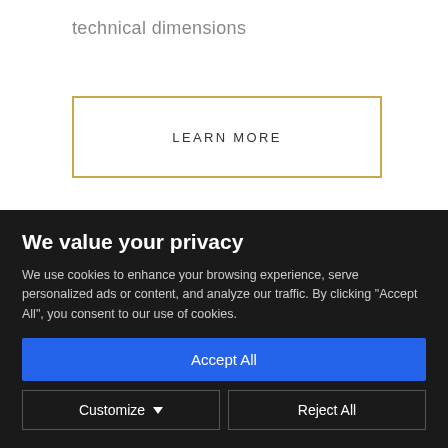technical dimensions
LEARN MORE
We value your privacy
We use cookies to enhance your browsing experience, serve personalized ads or content, and analyze our traffic. By clicking "Accept All", you consent to our use of cookies.
Accept All
Customize
Reject All